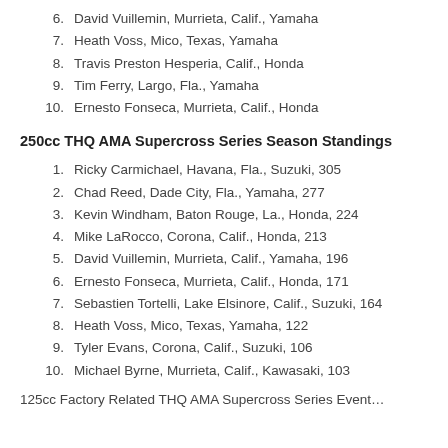6. David Vuillemin, Murrieta, Calif., Yamaha
7. Heath Voss, Mico, Texas, Yamaha
8. Travis Preston Hesperia, Calif., Honda
9. Tim Ferry, Largo, Fla., Yamaha
10. Ernesto Fonseca, Murrieta, Calif., Honda
250cc THQ AMA Supercross Series Season Standings
1. Ricky Carmichael, Havana, Fla., Suzuki, 305
2. Chad Reed, Dade City, Fla., Yamaha, 277
3. Kevin Windham, Baton Rouge, La., Honda, 224
4. Mike LaRocco, Corona, Calif., Honda, 213
5. David Vuillemin, Murrieta, Calif., Yamaha, 196
6. Ernesto Fonseca, Murrieta, Calif., Honda, 171
7. Sebastien Tortelli, Lake Elsinore, Calif., Suzuki, 164
8. Heath Voss, Mico, Texas, Yamaha, 122
9. Tyler Evans, Corona, Calif., Suzuki, 106
10. Michael Byrne, Murrieta, Calif., Kawasaki, 103
125cc Factory Related THQ AMA Supercross Series Event…